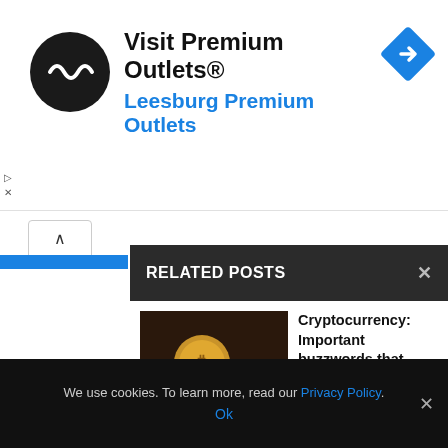[Figure (screenshot): Advertisement banner: Visit Premium Outlets® - Leesburg Premium Outlets, with logo and navigation icon]
RELATED POSTS
Fo
Y
[Figure (photo): Cryptocurrency coins (Bitcoin, Ripple) on a leather wallet]
Cryptocurrency: Important buzzwords that need to be known
November 12, 2021
[Figure (photo): Bitcoin coin in front of a purple stock chart with glowing lines]
Things To Take Care Of Before Bitcoin Mining and Its Effects?
We use cookies. To learn more, read our Privacy Policy.
Ok